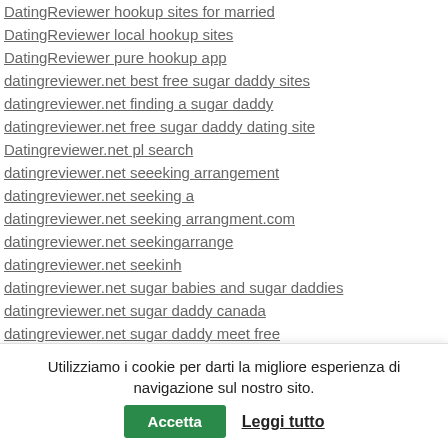DatingReviewer hookup sites for married
DatingReviewer local hookup sites
DatingReviewer pure hookup app
datingreviewer.net best free sugar daddy sites
datingreviewer.net finding a sugar daddy
datingreviewer.net free sugar daddy dating site
Datingreviewer.net pl search
datingreviewer.net seeeking arrangement
datingreviewer.net seeking a
datingreviewer.net seeking arrangment.com
datingreviewer.net seekingarrange
datingreviewer.net seekinh
datingreviewer.net sugar babies and sugar daddies
datingreviewer.net sugar daddy canada
datingreviewer.net sugar daddy meet free
datingreviewer.net sugar daddy profiles
Utilizziamo i cookie per darti la migliore esperienza di navigazione sul nostro sito.
Accetta | Leggi tutto